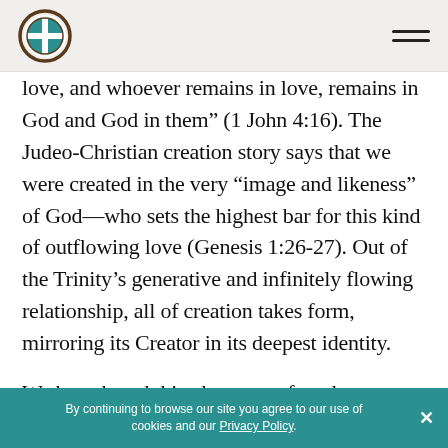[Logo: globe cross circle icon] [Hamburger menu icon]
love, and whoever remains in love, remains in God and God in them” (1 John 4:16). The Judeo-Christian creation story says that we were created in the very “image and likeness” of God—who sets the highest bar for this kind of outflowing love (Genesis 1:26-27). Out of the Trinity’s generative and infinitely flowing relationship, all of creation takes form, mirroring its Creator in its deepest identity.
We have heard this phrase so often that we don’t get the existential shock of what
By continuing to browse our site you agree to our use of cookies and our Privacy Policy.